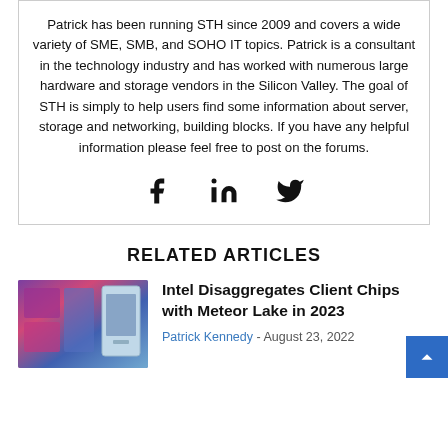Patrick has been running STH since 2009 and covers a wide variety of SME, SMB, and SOHO IT topics. Patrick is a consultant in the technology industry and has worked with numerous large hardware and storage vendors in the Silicon Valley. The goal of STH is simply to help users find some information about server, storage and networking, building blocks. If you have any helpful information please feel free to post on the forums.
[Figure (other): Social media icons: Facebook (f), LinkedIn (in), Twitter (bird)]
RELATED ARTICLES
[Figure (photo): Thumbnail image showing Intel chip dies/wafers and a device, for the article about Intel Disaggregates Client Chips with Meteor Lake in 2023]
Intel Disaggregates Client Chips with Meteor Lake in 2023
Patrick Kennedy - August 23, 2022